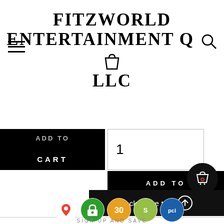FITZWORLD ENTERTAINMENT LLC
[Figure (screenshot): E-commerce product page showing Add to Cart button with quantity field, Back to the top button, Customer Care and Our Policies footer sections, trust badge icons, and floating cart icon.]
CART
1
ADD TO CART
Back to the top
CUSTOMER CARE
OUR POLICIES
SIGN UP AND SAVE